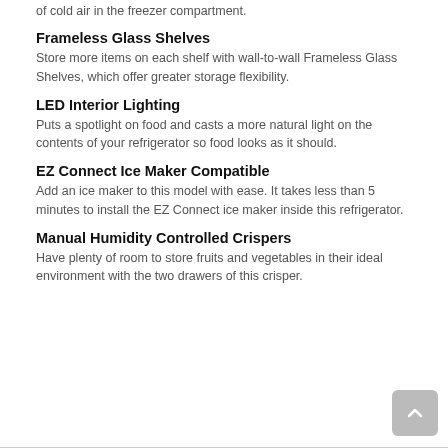of cold air in the freezer compartment.
Frameless Glass Shelves
Store more items on each shelf with wall-to-wall Frameless Glass Shelves, which offer greater storage flexibility.
LED Interior Lighting
Puts a spotlight on food and casts a more natural light on the contents of your refrigerator so food looks as it should.
EZ Connect Ice Maker Compatible
Add an ice maker to this model with ease. It takes less than 5 minutes to install the EZ Connect ice maker inside this refrigerator.
Manual Humidity Controlled Crispers
Have plenty of room to store fruits and vegetables in their ideal environment with the two drawers of this crisper.